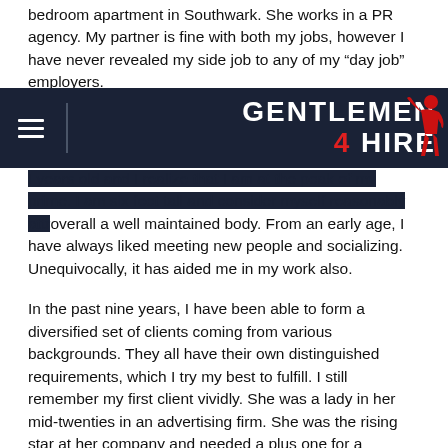bedroom apartment in Southwark. She works in a PR agency. My partner is fine with both my jobs, however I have never revealed my side job to any of my “day job” employers.
GENTLEMEN 4 HIRE
I years old and I realize that I am at the peak of my prime. I am six feet tall and consider myself reasonably attractive with overall a well maintained body. From an early age, I have always liked meeting new people and socializing. Unequivocally, it has aided me in my work also.
In the past nine years, I have been able to form a diversified set of clients coming from various backgrounds. They all have their own distinguished requirements, which I try my best to fulfill. I still remember my first client vividly. She was a lady in her mid-twenties in an advertising firm. She was the rising star at her company and needed a plus one for a corporate event, where she was getting rewarded for her outstanding work. She needed to show that she had a personal life as well outside of work too. I was also a little nervous, but we met a couple of hours ago before the corporate event and formed a cover story of how we met. We agreed that we met a supermarket. I presented myself as her boyfriend working as an accountant. We were able to form a great bond and she hired me as her cover boyfriend for the next one year before relocating to Liverpool. I have used the meeting at the supermarket standing